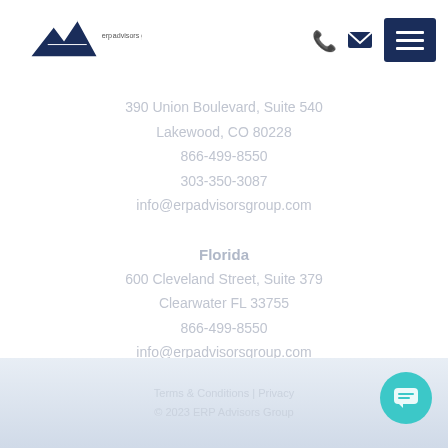[Figure (logo): ERP Advisors Group logo with mountain graphic and company name]
390 Union Boulevard, Suite 540
Lakewood, CO 80228
866-499-8550
303-350-3087
info@erpadvisorsgroup.com
Florida
600 Cleveland Street, Suite 379
Clearwater FL 33755
866-499-8550
info@erpadvisorsgroup.com
Terms & Conditions | Privacy
© 2023 ERP Advisors Group